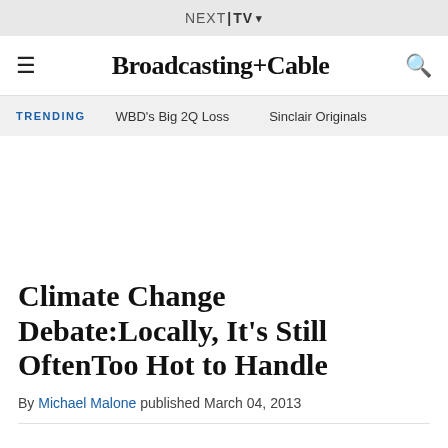NEXT|TV ▾
Broadcasting+Cable
TRENDING   WBD's Big 2Q Loss   Sinclair Originals
Climate Change Debate:Locally, It's Still OftenToo Hot to Handle
By Michael Malone published March 04, 2013